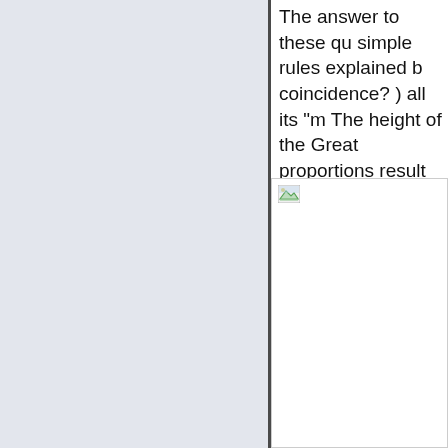The answer to these qu simple rules explained b coincidence? ) all its "m The height of the Great proportions result from c circle and the base equ see larger picture.
[Figure (photo): A broken/missing image placeholder showing a small icon in the top-left corner of a white rectangle area, representing a photo related to the Great Pyramid proportions.]